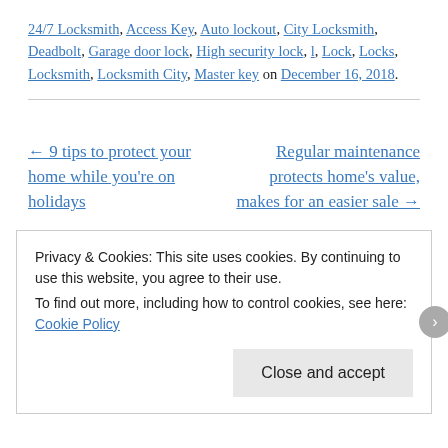24/7 Locksmith, Access Key, Auto lockout, City Locksmith, Deadbolt, Garage door lock, High security lock, l, Lock, Locks, Locksmith, Locksmith City, Master key on December 16, 2018.
← 9 tips to protect your home while you're on holidays
Regular maintenance protects home's value, makes for an easier sale →
Privacy & Cookies: This site uses cookies. By continuing to use this website, you agree to their use.
To find out more, including how to control cookies, see here: Cookie Policy